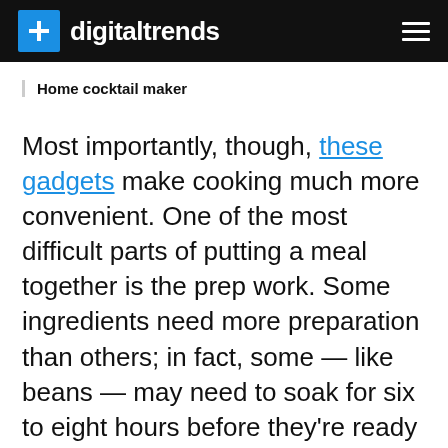digitaltrends
Home cocktail maker
Most importantly, though, these gadgets make cooking much more convenient. One of the most difficult parts of putting a meal together is the prep work. Some ingredients need more preparation than others; in fact, some — like beans — may need to soak for six to eight hours before they're ready to cook. Pressure cookers, air